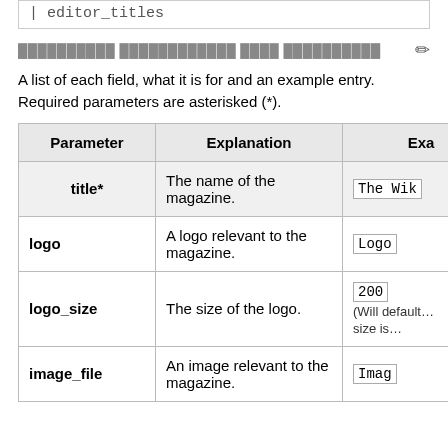| editor_titles
██████████ ████████████ ████ ██████████
A list of each field, what it is for and an example entry. Required parameters are asterisked (*).
| Parameter | Explanation | Example |
| --- | --- | --- |
| title* | The name of the magazine. | The Wik… |
| logo | A logo relevant to the magazine. | Logo… |
| logo_size | The size of the logo. | 200… (Will default … size is … |
| image_file | An image relevant to the magazine. | Imag… |